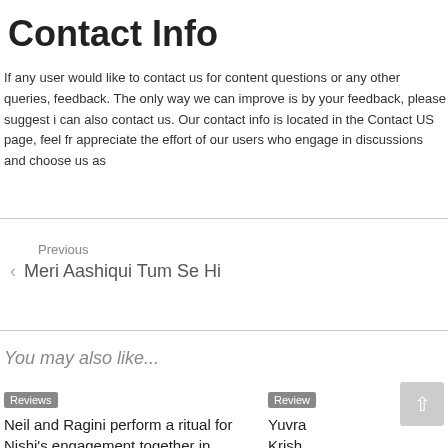Contact Info
If any user would like to contact us for content questions or any other queries, feedback. The only way we can improve is by your feedback, please suggest i can also contact us. Our contact info is located in the Contact US page, feel fr appreciate the effort of our users who engage in discussions and choose us as
Previous
◄ Meri Aashiqui Tum Se Hi
You may also like...
Reviews
Neil and Ragini perform a ritual for Nishi's engagement together in Sony's IKNMP.
Reviews
Yuvra Krish